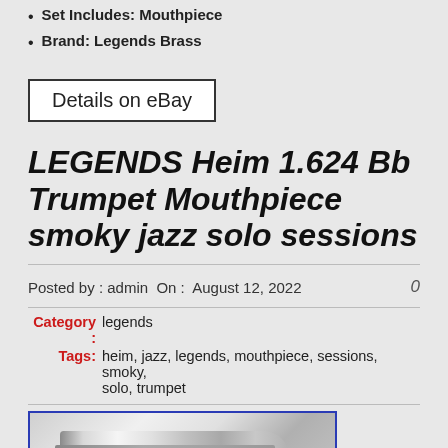Set Includes: Mouthpiece
Brand: Legends Brass
Details on eBay
LEGENDS Heim 1.624 Bb Trumpet Mouthpiece smoky jazz solo sessions
Posted by : admin  On :  August 12, 2022    0
Category : legends
Tags: heim, jazz, legends, mouthpiece, sessions, smoky, solo, trumpet
[Figure (photo): Photo of a silver/chrome trumpet mouthpiece]